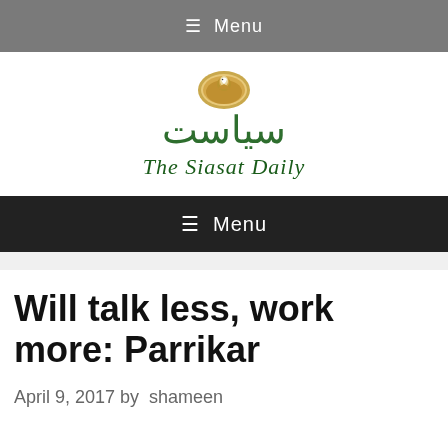≡ Menu
[Figure (logo): The Siasat Daily logo with a bird emblem, Arabic/Urdu text 'سیاست' and English text 'The Siasat Daily']
≡ Menu
Will talk less, work more: Parrikar
April 9, 2017 by  shameen